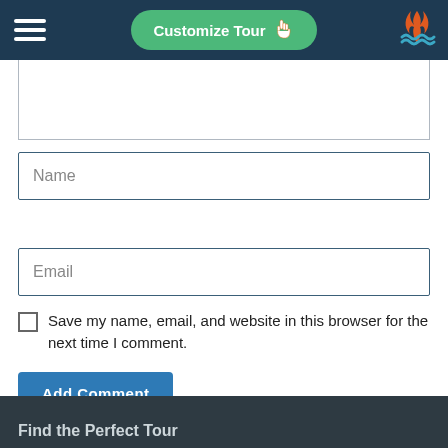Customize Tour
[Figure (screenshot): Website form UI with header bar containing hamburger menu, green 'Customize Tour' button with hand cursor icon, and flame/wave logo on right]
Name
Email
Save my name, email, and website in this browser for the next time I comment.
Add Comment
Find the Perfect Tour